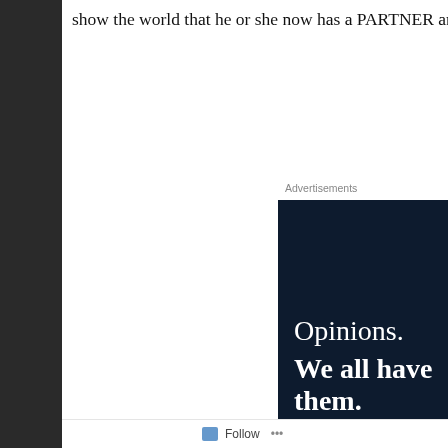show the world that he or she now has a PARTNER and is no longer single.
Advertisements
[Figure (other): Dark navy blue advertisement banner with white serif text reading 'Opinions. We all have them.' and a pink/crimson button at the bottom.]
Privacy & Cookies: This site uses cookies. By continuing to use this website, you agree to their use.
To find out more, including how to control cookies, see here: Cookie Policy
Close and accept